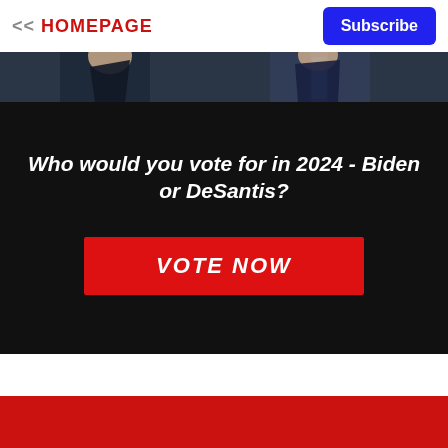<< HOMEPAGE | Subscribe
[Figure (photo): Photo strip showing people in suits with ties, cropped at top]
Who would you vote for in 2024 - Biden or DeSantis?
VOTE NOW
[Figure (logo): RAW STORY logo in white on red background with close X button]
You Spoke. We listened. Introducing